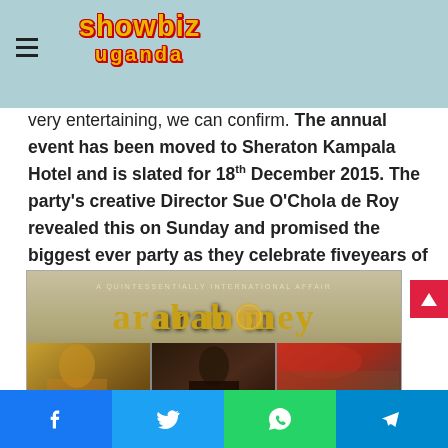showbiz uganda (logo)
This year's Arab Money Fab Party is going to be very entertaining, we can confirm. The annual event has been moved to Sheraton Kampala Hotel and is slated for 18th December 2015. The party's creative Director Sue O'Chola de Roy revealed this on Sunday and promised the biggest ever party as they celebrate fiveyears of partying. Below is what she posted;
[Figure (photo): Arab Money Fab Party promotional image with text 'A QUINTESSENTIALLY INTERNATIONAL AFFAIR' and 'arab money' logo, with collage of party photos showing people in colorful attire]
Social share buttons: Facebook, Twitter, WhatsApp, Telegram